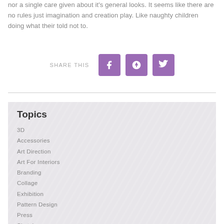nor a single care given about it's general looks. It seems like there are no rules just imagination and creation play. Like naughty children doing what their told not to.
[Figure (infographic): SHARE THIS label with three social media icons: Facebook (f), Pinterest (p), Twitter (bird) — all in purple rounded square buttons]
Topics
3D
Accessories
Art Direction
Art For Interiors
Branding
Collage
Exhibition
Pattern Design
Press
Sketch